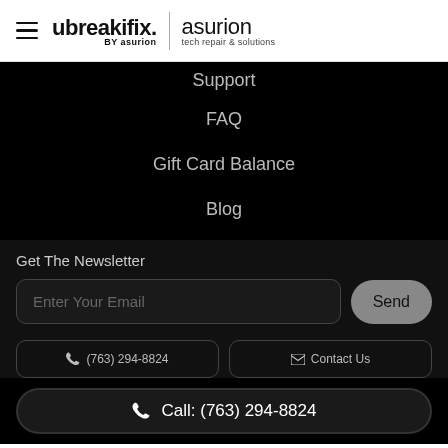[Figure (logo): ubreakifix by asurion | asurion tech repair & solutions logo with hamburger menu]
Support
FAQ
Gift Card Balance
Blog
Get The Newsletter
Enter Your Email
(763) 294-8824
Contact Us
Call: (763) 294-8824